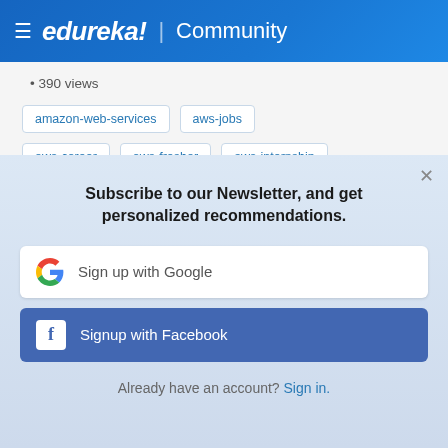☰ edureka! | Community
• 390 views
amazon-web-services
aws-jobs
aws-career
aws-fresher
aws-internship
Subscribe to our Newsletter, and get personalized recommendations.
Sign up with Google
Signup with Facebook
Already have an account? Sign in.